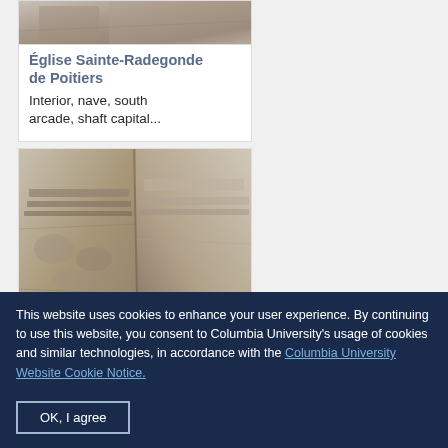[Figure (photo): Partial view of stone architectural detail, cropped at top — church interior stonework]
Église Sainte-Radegonde de Poitiers
Interior, nave, south arcade, shaft capital...
[Figure (photo): Stone capital architectural detail showing carved decorative elements at junction of shaft and arch, church interior]
This website uses cookies to enhance your user experience. By continuing to use this website, you consent to Columbia University's usage of cookies and similar technologies, in accordance with the Columbia University Website Cookie Notice.
OK, I agree